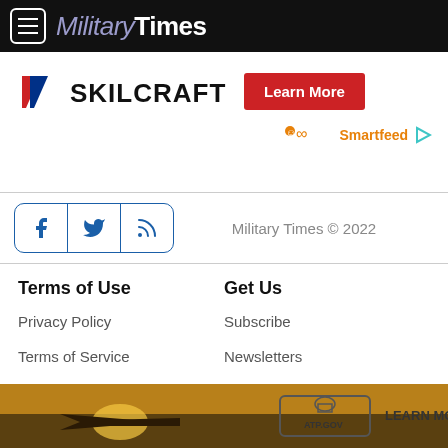MilitaryTimes
[Figure (logo): Skilcraft logo with diagonal red/blue stripe and Learn More red button]
[Figure (infographic): Smartfeed icon with infinity symbol and play arrow in orange]
Military Times © 2022
[Figure (infographic): Social media icons: Facebook, Twitter, RSS in blue rounded-rectangle border]
Terms of Use
Get Us
Privacy Policy
Subscribe
Terms of Service
Newsletters
[Figure (photo): Fighter jet at sunset with ATP.GOV LEARN MORE advertisement overlay]